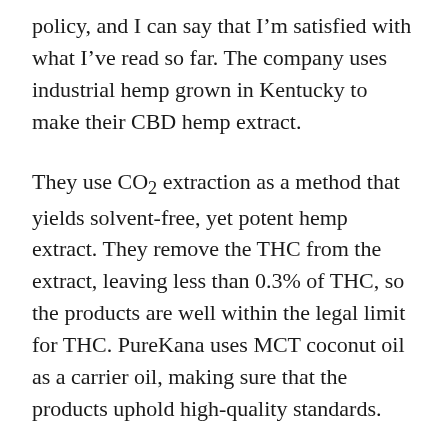policy, and I can say that I'm satisfied with what I've read so far. The company uses industrial hemp grown in Kentucky to make their CBD hemp extract.
They use CO2 extraction as a method that yields solvent-free, yet potent hemp extract. They remove the THC from the extract, leaving less than 0.3% of THC, so the products are well within the legal limit for THC. PureKana uses MCT coconut oil as a carrier oil, making sure that the products uphold high-quality standards.
Each product page contains the results from the third-party lab tests the company makes. This